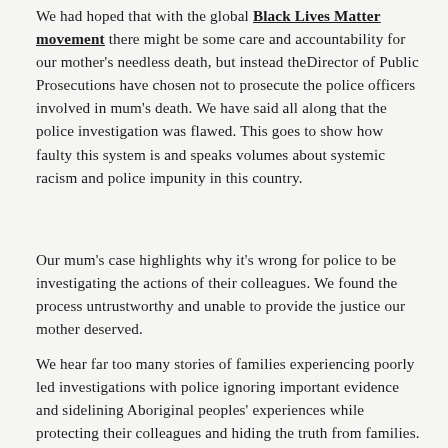We had hoped that with the global Black Lives Matter movement there might be some care and accountability for our mother's needless death, but instead theDirector of Public Prosecutions have chosen not to prosecute the police officers involved in mum's death. We have said all along that the police investigation was flawed. This goes to show how faulty this system is and speaks volumes about systemic racism and police impunity in this country.
Our mum's case highlights why it's wrong for police to be investigating the actions of their colleagues. We found the process untrustworthy and unable to provide the justice our mother deserved.
We hear far too many stories of families experiencing poorly led investigations with police ignoring important evidence and sidelining Aboriginal peoples' experiences while protecting their colleagues and hiding the truth from families. It's no surprise that in this country, more police officers involved in black deaths in custody have been